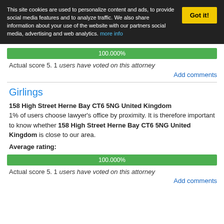This site cookies are used to personalize content and ads, to provide social media features and to analyze traffic. We also share information about your use of the website with our partners social media, advertising and web analytics. more info
Got it!
[Figure (bar-chart): Average rating]
Actual score 5. 1 users have voted on this attorney
Add comments
Girlings
158 High Street Herne Bay CT6 5NG United Kingdom
1% of users choose lawyer's office by proximity. It is therefore important to know whether 158 High Street Herne Bay CT6 5NG United Kingdom is close to our area.
Average rating:
[Figure (bar-chart): Average rating]
Actual score 5. 1 users have voted on this attorney
Add comments